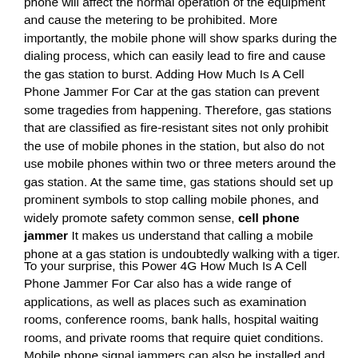phone will affect the normal operation of the equipment and cause the metering to be prohibited. More importantly, the mobile phone will show sparks during the dialing process, which can easily lead to fire and cause the gas station to burst. Adding How Much Is A Cell Phone Jammer For Car at the gas station can prevent some tragedies from happening. Therefore, gas stations that are classified as fire-resistant sites not only prohibit the use of mobile phones in the station, but also do not use mobile phones within two or three meters around the gas station. At the same time, gas stations should set up prominent symbols to stop calling mobile phones, and widely promote safety common sense, cell phone jammer It makes us understand that calling a mobile phone at a gas station is undoubtedly walking with a tiger.
To your surprise, this Power 4G How Much Is A Cell Phone Jammer For Car also has a wide range of applications, as well as places such as examination rooms, conference rooms, bank halls, hospital waiting rooms, and private rooms that require quiet conditions. Mobile phone signal jammers can also be installed and widely used in security restricted areas, casinos, theaters, churches, temples, trains, buses, etc. For example, for places such as during the examination room, once this 4G cell phone jammer is